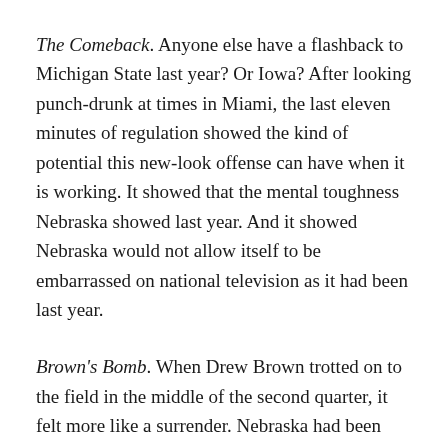The Comeback. Anyone else have a flashback to Michigan State last year? Or Iowa? After looking punch-drunk at times in Miami, the last eleven minutes of regulation showed the kind of potential this new-look offense can have when it is working. It showed that the mental toughness Nebraska showed last year. And it showed Nebraska would not allow itself to be embarrassed on national television as it had been last year.
Brown's Bomb. When Drew Brown trotted on to the field in the middle of the second quarter, it felt more like a surrender. Nebraska had been blitzed for 17 points in the first quarter, and was only able to get the ball to Miami's 32 before needing to kick a field goal.